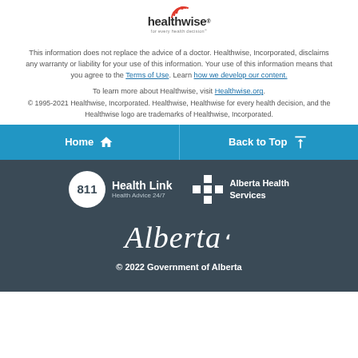[Figure (logo): Healthwise logo with red arc icon, wordmark 'healthwise' and tagline 'for every health decision']
This information does not replace the advice of a doctor. Healthwise, Incorporated, disclaims any warranty or liability for your use of this information. Your use of this information means that you agree to the Terms of Use. Learn how we develop our content.
To learn more about Healthwise, visit Healthwise.org.
© 1995-2021 Healthwise, Incorporated. Healthwise, Healthwise for every health decision, and the Healthwise logo are trademarks of Healthwise, Incorporated.
Home   Back to Top
[Figure (logo): 811 Health Link Health Advice 24/7 logo and Alberta Health Services logo on dark background]
[Figure (logo): Alberta script wordmark logo]
© 2022 Government of Alberta